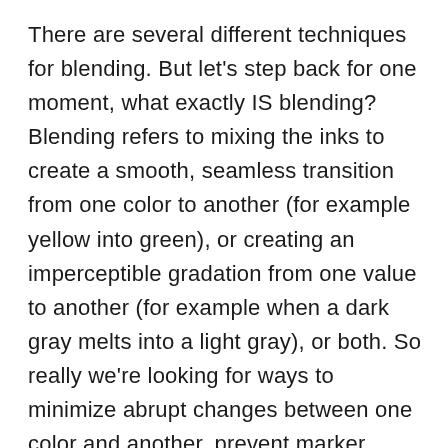There are several different techniques for blending. But let's step back for one moment, what exactly IS blending? Blending refers to mixing the inks to create a smooth, seamless transition from one color to another (for example yellow into green), or creating an imperceptible gradation from one value to another (for example when a dark gray melts into a light gray), or both. So really we're looking for ways to minimize abrupt changes between one color and another, prevent marker streaks, and instead create one even, unified area of color. If you're going to physically mix the inks you need to work quickly since the alcohol in the ink dries so fast. Once you get used to working with a certain amount of speed and you develop your own favored